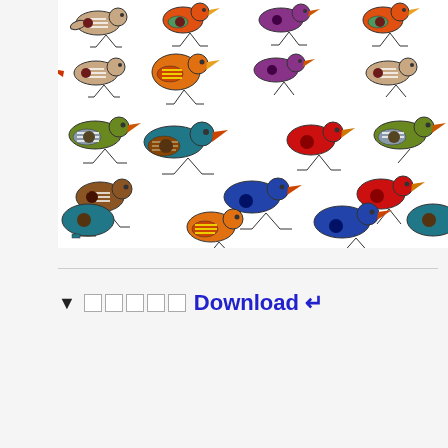[Figure (illustration): A colorful repeating pattern of stylized birds in various colors (red, orange, green, teal, purple, brown, blue, yellow) on a white background. The birds are drawn in a folk art style, arranged in a tile/repeat pattern across the image.]
▼ □□□□□ Download ↵